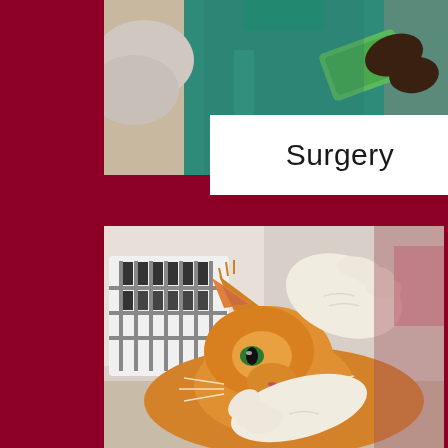[Figure (photo): Veterinarian in teal scrubs examining or treating an animal, holding a green object, visible from torso down]
Surgery
[Figure (photo): Orange tabby cat being examined by a veterinarian wearing white latex gloves, mouth being opened to check teeth, white pet carrier visible in background]